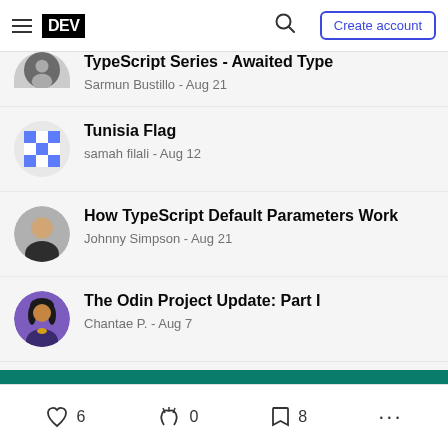DEV Community - navigation bar with hamburger menu, DEV logo, search icon, Create account button
TypeScript Series - Awaited Type · Sarmun Bustillo - Aug 21
Tunisia Flag · samah filali - Aug 12
How TypeScript Default Parameters Work · Johnny Simpson - Aug 21
The Odin Project Update: Part I · Chantae P. - Aug 7
6 likes · 0 unicorn reactions · 8 bookmarks · more options